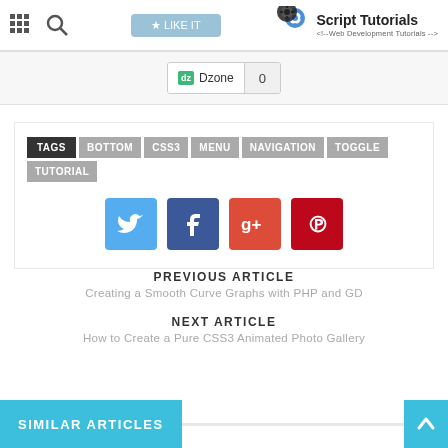Script Tutorials - Web Development Tutorials
[Figure (screenshot): Dzone share button showing count 0]
TAGS: BOTTOM CSS3 MENU NAVIGATION TOGGLE TUTORIAL
[Figure (infographic): Social share buttons: Twitter, Facebook, Google+, Pinterest]
PREVIOUS ARTICLE
Creating a Smooth Curve Graphs with PHP and GD
NEXT ARTICLE
How to Create a Pure CSS3 Animated Photo Gallery
SIMILAR ARTICLES